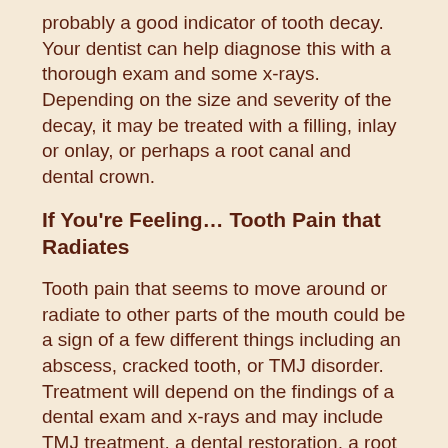probably a good indicator of tooth decay. Your dentist can help diagnose this with a thorough exam and some x-rays. Depending on the size and severity of the decay, it may be treated with a filling, inlay or onlay, or perhaps a root canal and dental crown.
If You're Feeling… Tooth Pain that Radiates
Tooth pain that seems to move around or radiate to other parts of the mouth could be a sign of a few different things including an abscess, cracked tooth, or TMJ disorder. Treatment will depend on the findings of a dental exam and x-rays and may include TMJ treatment, a dental restoration, a root canal, or an extraction.
If You're Feeling… Zings of Pain
One of the most common types of tooth pain patients complain about is zinging pain. This quick burst of